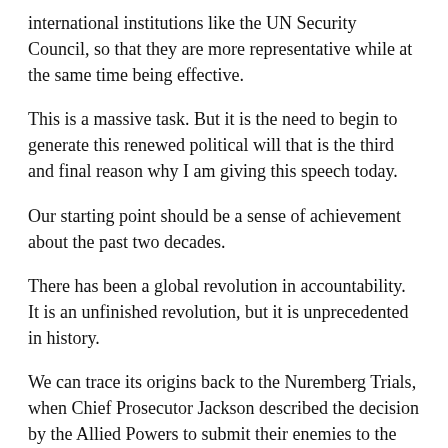international institutions like the UN Security Council, so that they are more representative while at the same time being effective.
This is a massive task. But it is the need to begin to generate this renewed political will that is the third and final reason why I am giving this speech today.
Our starting point should be a sense of achievement about the past two decades.
There has been a global revolution in accountability. It is an unfinished revolution, but it is unprecedented in history.
We can trace its origins back to the Nuremberg Trials, when Chief Prosecutor Jackson described the decision by the Allied Powers to submit their enemies to the judgment of the law as “one of the most significant tributes that Power has ever paid to Reason”.
But even twenty years ago, impunity for war crimes was still the norm.
Since then we have built the architecture of international justice.